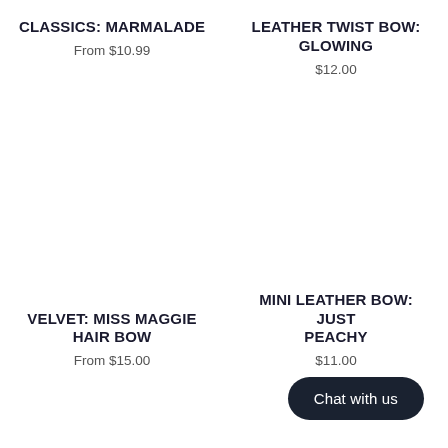CLASSICS: MARMALADE
From $10.99
LEATHER TWIST BOW: GLOWING
$12.00
VELVET: MISS MAGGIE HAIR BOW
From $15.00
MINI LEATHER BOW: JUST PEACHY
$11.00
Chat with us